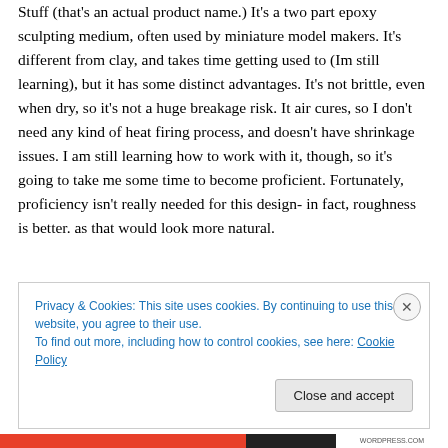Stuff (that's an actual product name.)  It's a two part epoxy sculpting medium, often used by miniature model makers.  It's different from clay, and takes time getting used to (Im still learning), but it has some distinct advantages.  It's not brittle, even when dry, so it's not a huge breakage risk.  It air cures, so I don't need any kind of heat firing process, and doesn't have shrinkage issues.  I am still learning how to work with it, though, so it's going to take me some time to become proficient. Fortunately, proficiency isn't really needed for this design- in fact, roughness is better. as that would look more natural.
Privacy & Cookies: This site uses cookies. By continuing to use this website, you agree to their use.
To find out more, including how to control cookies, see here: Cookie Policy
Close and accept